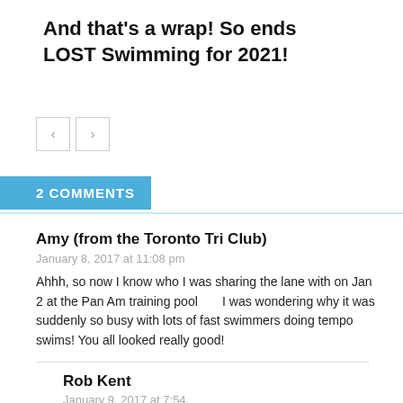And that's a wrap! So ends LOST Swimming for 2021!
[Figure (other): Navigation buttons: left arrow and right arrow]
2 COMMENTS
Amy (from the Toronto Tri Club)
January 8, 2017 at 11:08 pm
Ahhh, so now I know who I was sharing the lane with on Jan 2 at the Pan Am training pool      I was wondering why it was suddenly so busy with lots of fast swimmers doing tempo swims! You all looked really good!
Rob Kent
January 9, 2017 at 7:54